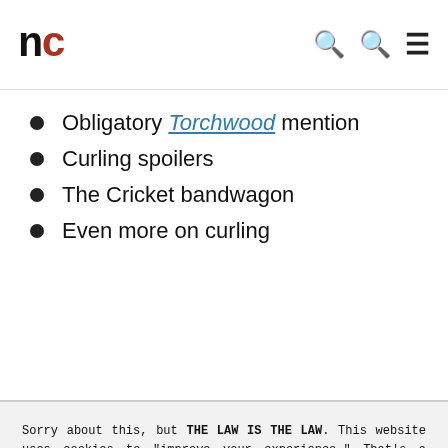nc
Obligatory Torchwood mention
Curling spoilers
The Cricket bandwagon
Even more on curling
Sorry about this, but THE LAW IS THE LAW. This website uses cookies to "improve your experience." That's a euphemism we're supposed to use for "We have to have these ads because websites cost money." The cookies and/or scripts we use are mostly from Google Analytics, AdSense, and YouTube. However we've instructed Google to anonymize any data that they collect. Just so you know. We'll assume you're ok with this, but you can opt-out if you wish. Just bear in mind, certain embeds and such might not work.<br /> <br /> Also, please be aware that when we link out to products, we may earn a commission for doing so. Because we're certainly not doing it for our health. See our privacy policy & terms of use for more info than you would ever want to know. - Privacy Policy & Terms of Use